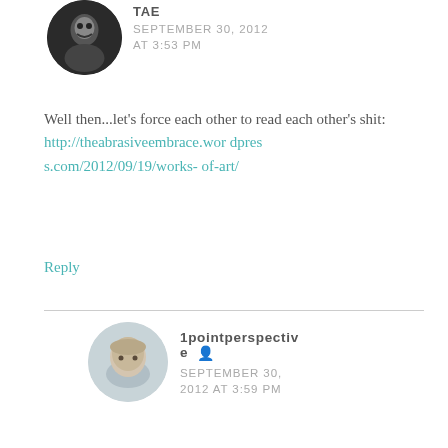[Figure (photo): Circular avatar photo of a person with dark hair and pale makeup]
TAE
SEPTEMBER 30, 2012
AT 3:53 PM
Well then...let's force each other to read each other's shit: http://theabrasiveembrace.wordpress.com/2012/09/19/works-of-art/
Reply
[Figure (photo): Circular avatar photo of a bald person with light background]
1pointperspective
SEPTEMBER 30, 2012 AT 3:59 PM